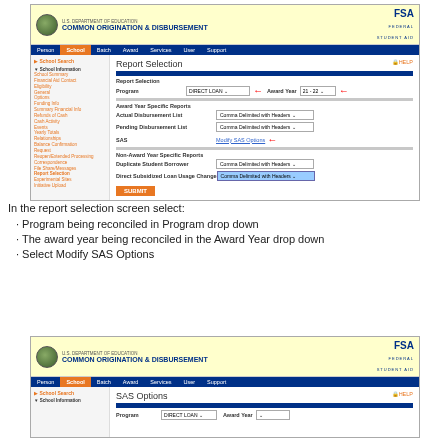[Figure (screenshot): U.S. Department of Education COD system screenshot showing Report Selection screen with Program dropdown set to DIRECT LOAN, Award Year 21-22, and options for Actual Disbursement List, Pending Disbursement List, SAS (with Modify SAS Options link), Duplicate Student Borrower, and Direct Subsidized Loan Usage Change. Red arrows point to Program dropdown, Award Year dropdown, and Modify SAS Options link.]
In the report selection screen select:
· Program being reconciled in Program drop down
· The award year being reconciled in the Award Year drop down
· Select Modify SAS Options
[Figure (screenshot): U.S. Department of Education COD system screenshot showing SAS Options screen with Program and Award Year fields.]